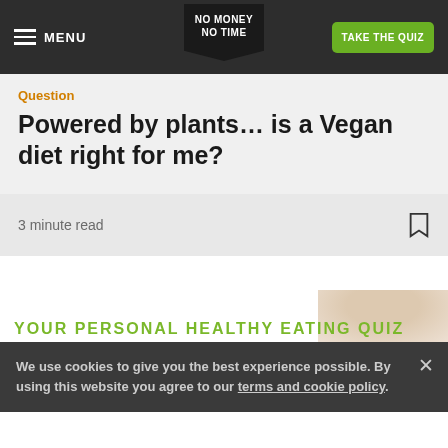MENU | NO MONEY NO TIME | TAKE THE QUIZ
Question
Powered by plants… is a Vegan diet right for me?
3 minute read
[Figure (illustration): Partial banner image for personal healthy eating quiz with a person visible on the right side]
YOUR PERSONAL HEALTHY EATING QUIZ
We use cookies to give you the best experience possible. By using this website you agree to our terms and cookie policy.